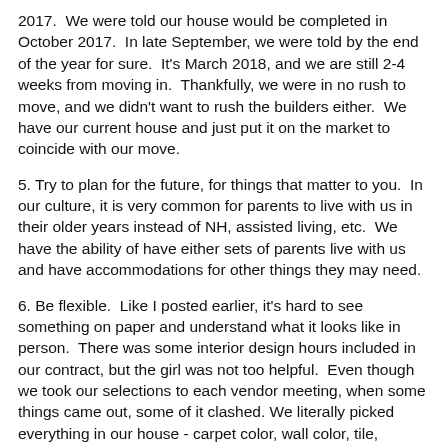2017.  We were told our house would be completed in October 2017.  In late September, we were told by the end of the year for sure.  It's March 2018, and we are still 2-4 weeks from moving in.  Thankfully, we were in no rush to move, and we didn't want to rush the builders either.  We have our current house and just put it on the market to coincide with our move.
5. Try to plan for the future, for things that matter to you.  In our culture, it is very common for parents to live with us in their older years instead of NH, assisted living, etc.  We have the ability of have either sets of parents live with us and have accommodations for other things they may need.
6. Be flexible.  Like I posted earlier, it's hard to see something on paper and understand what it looks like in person.  There was some interior design hours included in our contract, but the girl was not too helpful.  Even though we took our selections to each vendor meeting, when some things came out, some of it clashed. We literally picked everything in our house - carpet color, wall color, tile, lighting, plumbing fixtures, back splash, appliances, wood color, counter tops, etc.  In our basement, I had to change the paint color after 2 coats of paint because once everything else was installed, I did not like the look.  It was helpful that we planned on the overage amount in our budget and still under built relative to what we could afford.